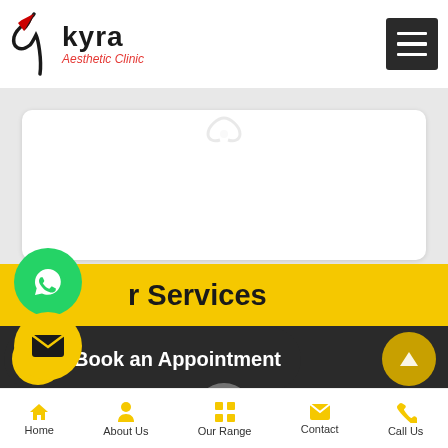[Figure (logo): Kyra Aesthetic Clinic logo with bird icon and red/black text]
[Figure (screenshot): White card content area with faint loading spinner]
r Services
Book an Appointment
PRP TREATMENT FOR HAIR LOSS
Home  About Us  Our Range  Contact  Call Us